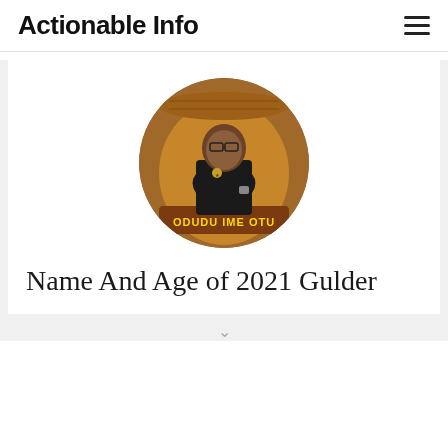Actionable Info
[Figure (photo): Circular profile photo of Odudu Ime Otu, a man in a black t-shirt with arms crossed, set against a parchment scroll background with his name 'ODUDU IME OTU' written at the bottom]
Name And Age of 2021 Gulder